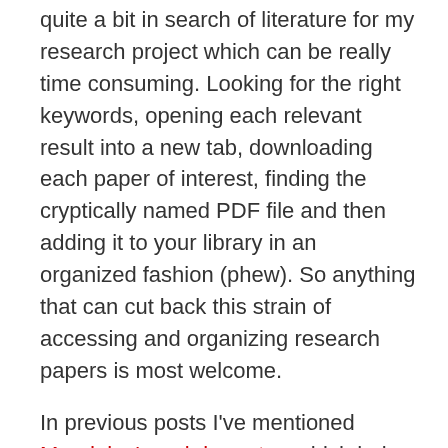quite a bit in search of literature for my research project which can be really time consuming. Looking for the right keywords, opening each relevant result into a new tab, downloading each paper of interest, finding the cryptically named PDF file and then adding it to your library in an organized fashion (phew). So anything that can cut back this strain of accessing and organizing research papers is most welcome.
In previous posts I've mentioned Mendeley's web importer, which helps retrieve papers directly to your Mendeley Web account. That's all good, but what about papers that you already have on your computer spread about in different folders or hard drives?
There are multiple ways to import files from your